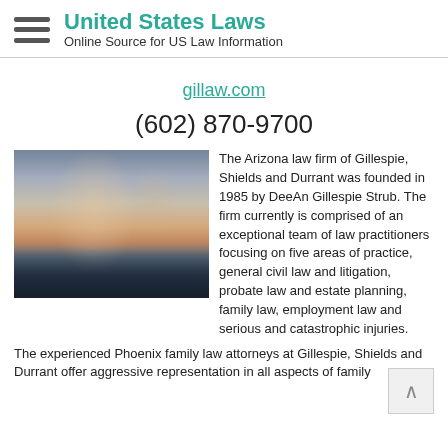United States Laws
Online Source for US Law Information
gillaw.com
(602) 870-9700
[Figure (photo): Outdoor landscape photo showing a dramatic sky with storm clouds over a body of water, with warm sunset colors at the horizon and mountains or land in the distance]
The Arizona law firm of Gillespie, Shields and Durrant was founded in 1985 by DeeAn Gillespie Strub. The firm currently is comprised of an exceptional team of law practitioners focusing on five areas of practice, general civil law and litigation, probate law and estate planning, family law, employment law and serious and catastrophic injuries.
The experienced Phoenix family law attorneys at Gillespie, Shields and Durrant offer aggressive representation in all aspects of family